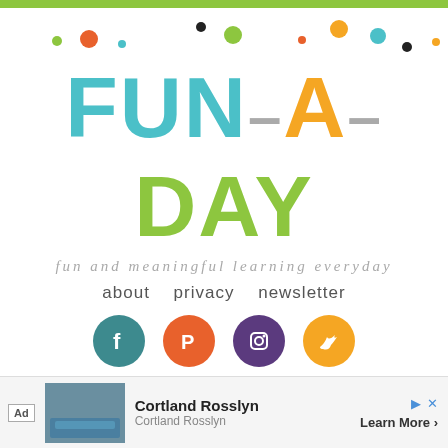[Figure (logo): Fun-A-Day logo with colorful dots and site name in teal, orange/gold, and green lettering]
fun and meaningful learning everyday
about   privacy   newsletter
[Figure (infographic): Social media icons: Facebook (teal circle), Pinterest (orange circle), Instagram (purple circle), Twitter (gold circle)]
Home
Early Learning
Themes
Teacher Tips
Free Printables
Slime
Shop
Ad  Cortland Rosslyn  Cortland Rosslyn  Learn More